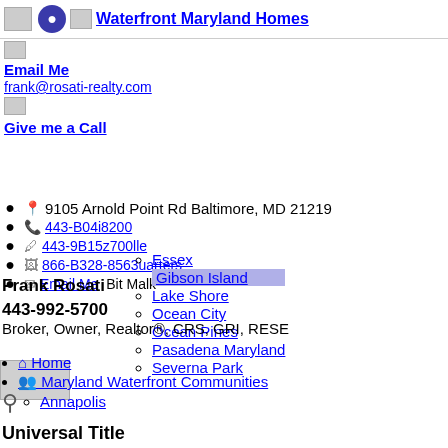Waterfront Maryland Homes
Email Me
frank@rosati-realty.com
Give me a Call
Frank Rosati
443-992-5700
Broker, Owner, Realtor®, CRS, GRI, RESE
Home
Maryland Waterfront Communities
Annapolis
9105 Arnold Point Rd Baltimore, MD 21219
443-B04i8200
443-9B15z700lle
866-B328-8563uarters
Email Me / Bit Mark
Essex
Gibson Island
Lake Shore
Ocean City
Ocean Pines
Pasadena Maryland
Severna Park
Universal Title